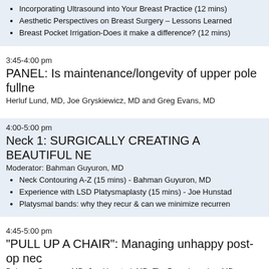Incorporating Ultrasound into Your Breast Practice (12 mins)
Aesthetic Perspectives on Breast Surgery – Lessons Learned
Breast Pocket Irrigation-Does it make a difference? (12 mins)
3:45-4:00 pm
PANEL: Is maintenance/longevity of upper pole fullne
Herluf Lund, MD, Joe Gryskiewicz, MD and Greg Evans, MD
4:00-5:00 pm
Neck 1: SURGICALLY CREATING A BEAUTIFUL NE
Moderator: Bahman Guyuron, MD
Neck Contouring A-Z (15 mins) - Bahman Guyuron, MD
Experience with LSD Platysmaplasty (15 mins) - Joe Hunstad
Platysmal bands: why they recur & can we minimize recurren
4:45-5:00 pm
"PULL UP A CHAIR": Managing unhappy post-op nec
Bahman Guyuron, MD, Joe Hunstad, MD, Tim Papadopoulos, MD a
Thursday, July 14, 2022
Stockholm, Sweden